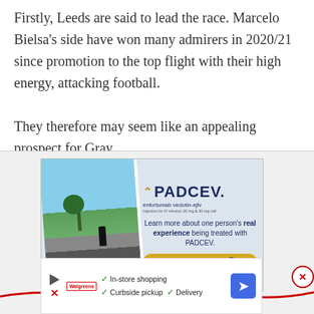Firstly, Leeds are said to lead the race. Marcelo Bielsa's side have won many admirers in 2020/21 since promotion to the top flight with their high energy, attacking football.

They therefore may seem like an appealing prospect for Gray.
[Figure (other): PADCEV (enfortumab vedotin-ejfv) pharmaceutical advertisement showing a person walking outdoors on a path with grass and trees, with text 'Learn more about one person's real experience being treated with PADCEV.' and a 'Watch Bodiul's Story' button. Includes a red squiggle line and a close (X) button.]
[Figure (other): Google advertisement banner showing a play button icon, a red X icon, a Walgreens logo, checkmarks next to 'In-store shopping', 'Curbside pickup', 'Delivery', and a blue navigation/directions icon.]